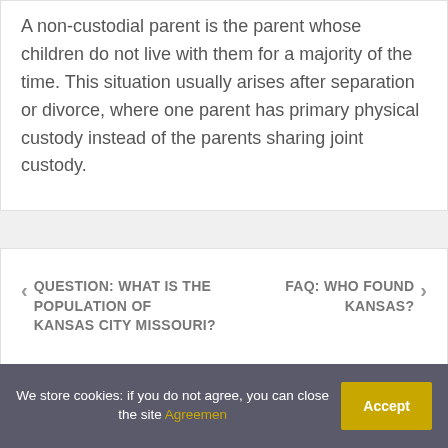A non-custodial parent is the parent whose children do not live with them for a majority of the time. This situation usually arises after separation or divorce, where one parent has primary physical custody instead of the parents sharing joint custody.
QUESTION: WHAT IS THE POPULATION OF KANSAS CITY MISSOURI?
FAQ: WHO FOUND KANSAS?
We store cookies: if you do not agree, you can close the site Agreemen